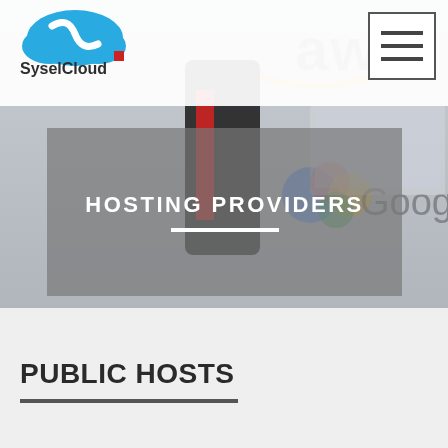[Figure (screenshot): SyselCloud website screenshot showing a header with AWS and Google Cloud logos in the background, a navigation bar with SyselCloud logo and hamburger menu icon, a hero banner with 'HOSTING PROVIDERS' text, and a 'PUBLIC HOSTS' section heading below.]
HOSTING PROVIDERS
PUBLIC HOSTS